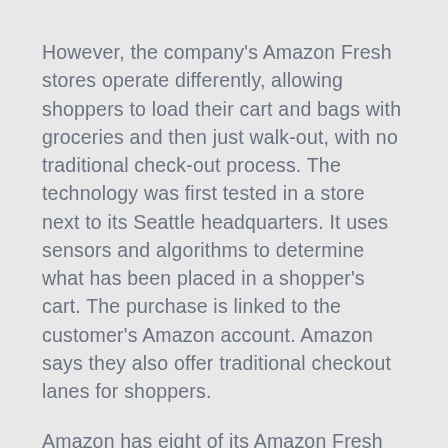However, the company's Amazon Fresh stores operate differently, allowing shoppers to load their cart and bags with groceries and then just walk-out, with no traditional check-out process. The technology was first tested in a store next to its Seattle headquarters. It uses sensors and algorithms to determine what has been placed in a shopper's cart. The purchase is linked to the customer's Amazon account. Amazon says they also offer traditional checkout lanes for shoppers.
Amazon has eight of its Amazon Fresh grocery stores in California, four in Illinois, one in Maryland, Pennsylvania and Virginia, three in Washington state and one in Washington, D.C. The Amazon Fresh stores will be one of Amazon's small but growing number of physical grocery locations.